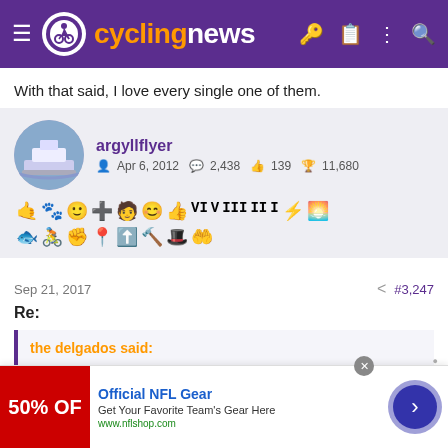cyclingnews
With that said, I love every single one of them.
argyllflyer | Apr 6, 2012 | 2,438 messages | 139 likes | 11,680 points
Sep 21, 2017  #3,247
Re:
the delgados said:
[Figure (screenshot): Official NFL Gear advertisement banner - Get Your Favorite Team's Gear Here, www.nflshop.com, 50% OFF red image on left]